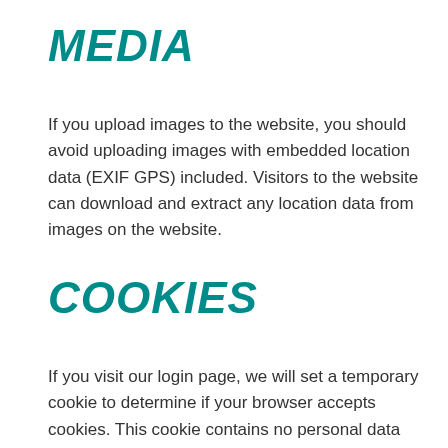MEDIA
If you upload images to the website, you should avoid uploading images with embedded location data (EXIF GPS) included. Visitors to the website can download and extract any location data from images on the website.
COOKIES
If you visit our login page, we will set a temporary cookie to determine if your browser accepts cookies. This cookie contains no personal data and is discarded when you close your browser.